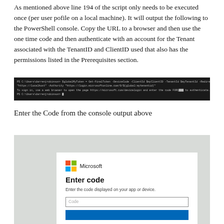As mentioned above line 194 of the script only needs to be executed once (per user pofile on a local machine). It will output the following to the PowerShell console. Copy the URL to a browser and then use the one time code and then authenticate with an account for the Tenant associated with the TenantID and ClientID used that also has the permissions listed in the Prerequisites section.
[Figure (screenshot): PowerShell console output showing device code flow authentication output with URL and code]
Enter the Code from the console output above
[Figure (screenshot): Microsoft Enter code dialog with Code input field and submit button. Shows Microsoft logo, 'Enter code' heading, 'Enter the code displayed on your app or device.' subtitle, and a Code text input.]